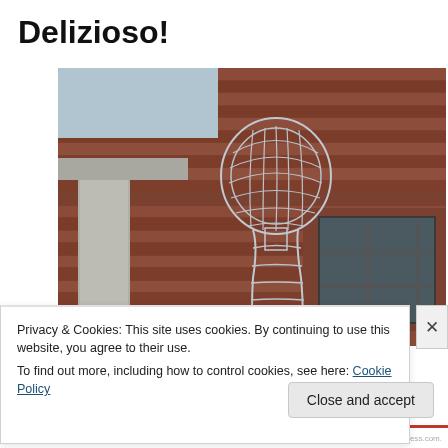Delizioso!
[Figure (photo): A wire-frame metallic human sculpture (torso and head looking upward) in front of a red-brown wooden building with a large window and a concrete pillar.]
Privacy & Cookies: This site uses cookies. By continuing to use this website, you agree to their use.
To find out more, including how to control cookies, see here: Cookie Policy
Close and accept